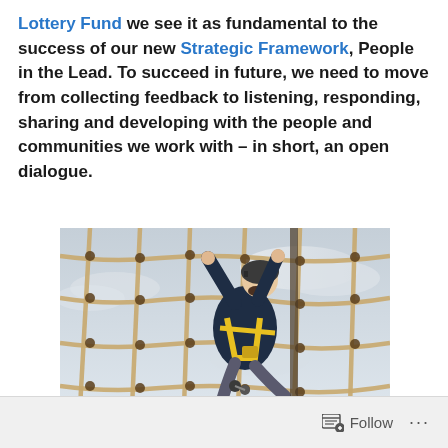Lottery Fund we see it as fundamental to the success of our new Strategic Framework, People in the Lead. To succeed in future, we need to move from collecting feedback to listening, responding, sharing and developing with the people and communities we work with – in short, an open dialogue.
[Figure (photo): A person wearing a helmet and yellow harness climbing a rope net structure, photographed from below against a cloudy sky.]
Follow ···